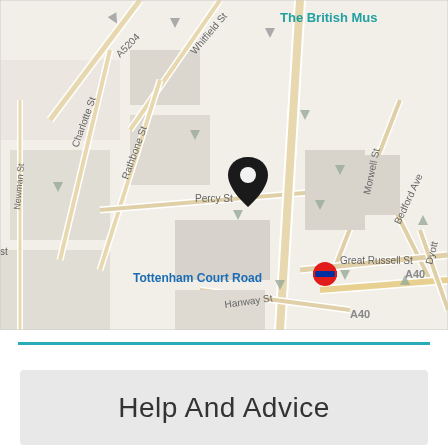[Figure (map): Street map showing area around Tottenham Court Road, London, with a location pin marker. Shows streets including A5204, Whitfield St, Charlotte St, Rathbone St, Newman St, Percy St, Tottenham Court Rd, Morwell St, Bedford Ave, Great Russell St, Hanway St, A40, Dyott St. Bedford Square Garden shown in green. Tottenham Court Road tube station marked with London Underground roundel. The British Museum labeled in top right.]
Help And Advice